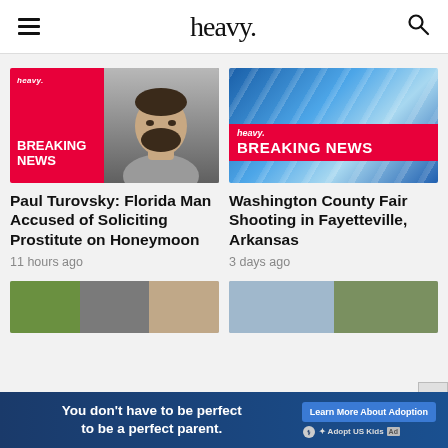heavy.
[Figure (photo): Heavy Breaking News card with red breaking news overlay on left and mugshot of Paul Turovsky on right]
Paul Turovsky: Florida Man Accused of Soliciting Prostitute on Honeymoon
11 hours ago
[Figure (photo): Heavy Breaking News card with blue background and red BREAKING NEWS banner]
Washington County Fair Shooting in Fayetteville, Arkansas
3 days ago
[Figure (photo): Partial bottom thumbnail images of two more articles]
You don't have to be perfect to be a perfect parent.
Learn More About Adoption  Adopt US Kids